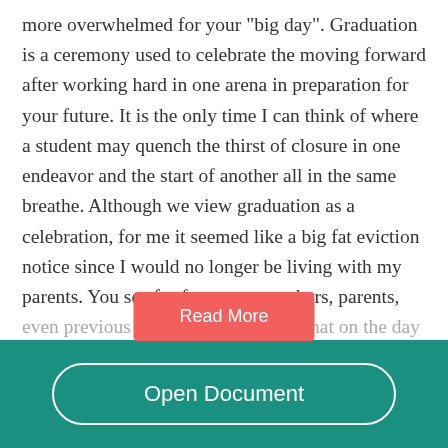more overwhelmed for your "big day". Graduation is a ceremony used to celebrate the moving forward after working hard in one arena in preparation for your future. It is the only time I can think of where a student may quench the thirst of closure in one endeavor and the start of another all in the same breathe. Although we view graduation as a celebration, for me it seemed like a big fat eviction notice since I would no longer be living with my parents. You see for four years teachers, parents, even previous grad— —he hype that on the day of graduation — —he time of your
[Figure (other): A red/coral 'Read More' button overlaying the faded text]
[Figure (other): A teal footer bar with an 'Open Document' button with white rounded border]